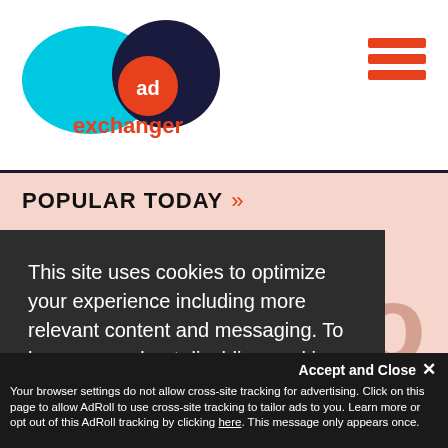[Figure (logo): AdExchanger logo: cyan oval overlapping dark navy circle, orange 'ad' circle badge, orange 'exchanger' text below]
POPULAR TODAY
This site uses cookies to optimize your experience including more relevant content and messaging. To learn more about disabling cookies in your browser, click here.  By continuing to use this site, you accept our use of cookies. For more information, view our updated Privacy Policy.
Accept and Close ✕
Your browser settings do not allow cross-site tracking for advertising. Click on this page to allow AdRoll to use cross-site tracking to tailor ads to you. Learn more or opt out of this AdRoll tracking by clicking here. This message only appears once.